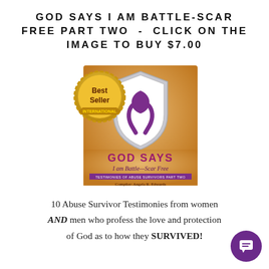GOD SAYS I AM BATTLE-SCAR FREE PART TWO - CLICK ON THE IMAGE TO BUY $7.00
[Figure (photo): Book cover for 'God Says I am Battle-Scar Free' Part Two by Compiler Angela R. Edwards, with a Best Seller International seal, a shield with a purple ribbon, and warm golden background.]
10 Abuse Survivor Testimonies from women AND men who profess the love and protection of God as to how they SURVIVED!